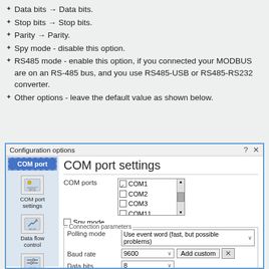Data bits → Data bits.
Stop bits → Stop bits.
Parity → Parity.
Spy mode - disable this option.
RS485 mode - enable this option, if you connected your MODBUS are on an RS-485 bus, and you use RS485-USB or RS485-RS232 converter.
Other options - leave the default value as shown below.
[Figure (screenshot): Configuration options dialog showing COM port settings panel with COM ports listbox (COM1 checked, COM2, COM3, COM11, COM12 unchecked), Spy mode checkbox unchecked, Connection parameters section with Polling mode dropdown (Use event word fast but possible problems), Baud rate (9600) with Add custom button, Data bits (8), Parity (None), Stop bits (1). Left nav panel shows COM port button active, plus COM port settings, Data flow control, and Additional options items.]